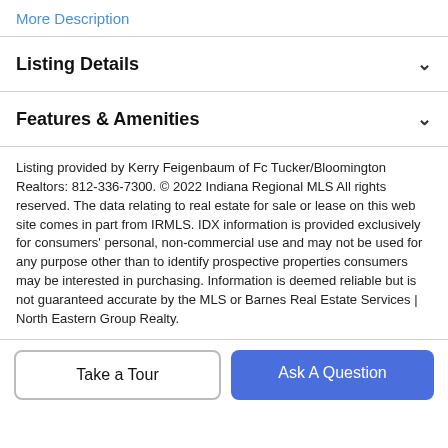More Description
Listing Details
Features & Amenities
Listing provided by Kerry Feigenbaum of Fc Tucker/Bloomington Realtors: 812-336-7300. © 2022 Indiana Regional MLS All rights reserved. The data relating to real estate for sale or lease on this web site comes in part from IRMLS. IDX information is provided exclusively for consumers' personal, non-commercial use and may not be used for any purpose other than to identify prospective properties consumers may be interested in purchasing. Information is deemed reliable but is not guaranteed accurate by the MLS or Barnes Real Estate Services | North Eastern Group Realty.
Take a Tour
Ask A Question